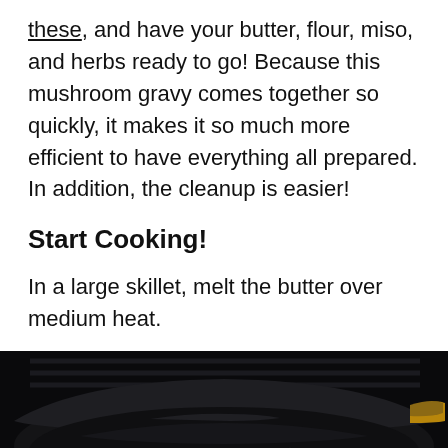these, and have your butter, flour, miso, and herbs ready to go! Because this mushroom gravy comes together so quickly, it makes it so much more efficient to have everything all prepared. In addition, the cleanup is easier!
Start Cooking!
In a large skillet, melt the butter over medium heat.
[Figure (photo): Close-up photograph of a dark cast iron skillet on a stovetop, shot from a low angle showing the rim and interior of the pan against a dark background with stove grates visible.]